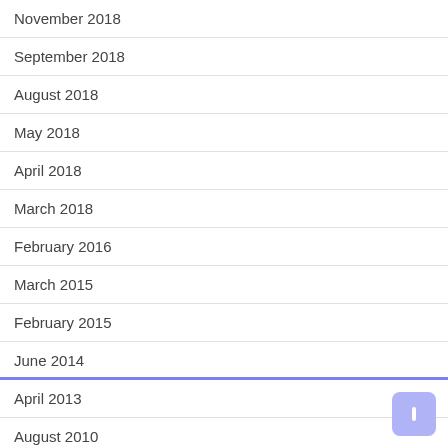November 2018
September 2018
August 2018
May 2018
April 2018
March 2018
February 2016
March 2015
February 2015
June 2014
April 2013
August 2010